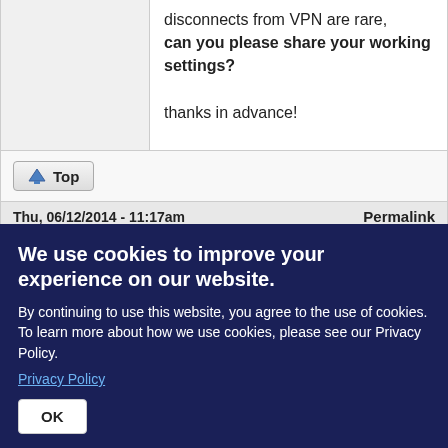disconnects from VPN are rare, can you please share your working settings?

thanks in advance!
Top
Thu, 06/12/2014 - 11:17am
Permalink
DougRoberson
Sky1111 said: Folks, I updated FW to 24200m new drivers and while wireless seems fine, I still see
We use cookies to improve your experience on our website.

By continuing to use this website, you agree to the use of cookies. To learn more about how we use cookies, please see our Privacy Policy.
Privacy Policy

OK